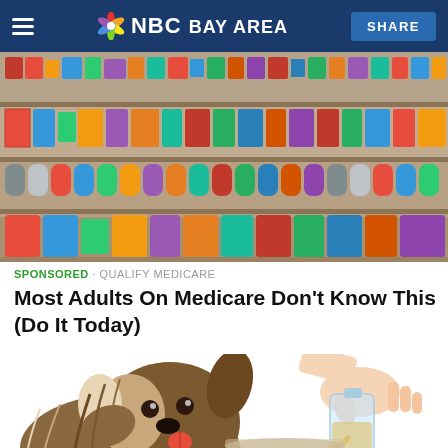NBC BAY AREA  SHARE
[Figure (photo): Wide shot of a retail grocery/pet store aisle with colorful product packaging on floor-to-ceiling shelves]
SPONSORED · QUALIFY MEDICARE
Most Adults On Medicare Don't Know This (Do It Today)
[Figure (illustration): Cartoon/illustration of a fluffy brown and white dog with tongue out, while a human hand pours liquid from a glass bottle into a bowl]